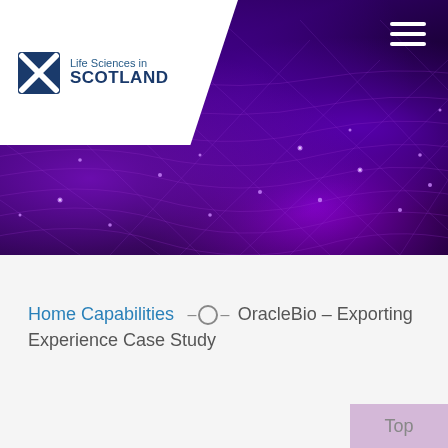[Figure (illustration): Hero banner with dark purple glowing network/mesh grid visualization on black background. Top-left white triangular banner contains Life Sciences in Scotland logo with saltire X icon. Top-right has hamburger menu (three white horizontal bars).]
Home Capabilities –O– OracleBio – Exporting Experience Case Study